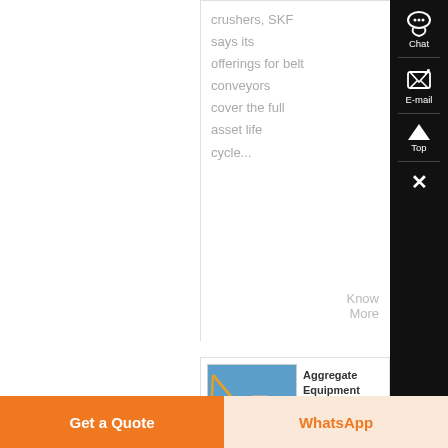crushers, SKF says its offerings for belt conveyors cover the full asset life cycle...
Know More
[Figure (photo): Industrial aggregate equipment facility with tall silos, conveyors and cranes against a blue sky]
Aggregate Equipment Manufacturer | ELRUS Aggregate
Get a Quote
WhatsApp